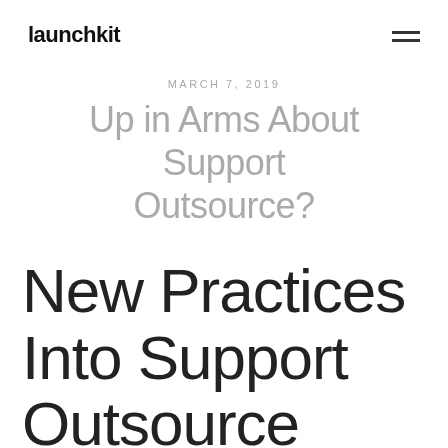launchkit
MARCH 7, 2019
Up in Arms About Support Outsource?
New Practices Into Support Outsource Never ever at any time Beforehand of